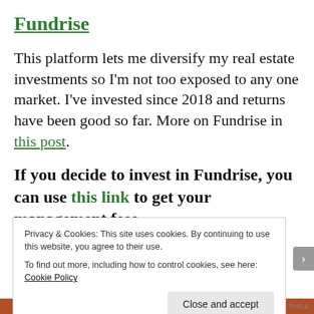Fundrise
This platform lets me diversify my real estate investments so I'm not too exposed to any one market. I've invested since 2018 and returns have been good so far. More on Fundrise in this post.
If you decide to invest in Fundrise, you can use this link to get your management fees
Privacy & Cookies: This site uses cookies. By continuing to use this website, you agree to their use. To find out more, including how to control cookies, see here: Cookie Policy
Close and accept